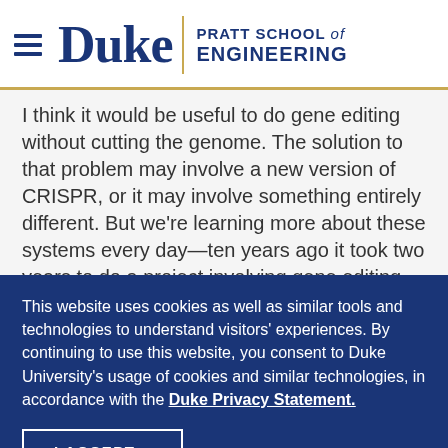Duke | PRATT SCHOOL of ENGINEERING
I think it would be useful to do gene editing without cutting the genome. The solution to that problem may involve a new version of CRISPR, or it may involve something entirely different. But we're learning more about these systems every day—ten years ago it took two years to do a project involving gene editing, and
This website uses cookies as well as similar tools and technologies to understand visitors' experiences. By continuing to use this website, you consent to Duke University's usage of cookies and similar technologies, in accordance with the Duke Privacy Statement.
I ACCEPT »